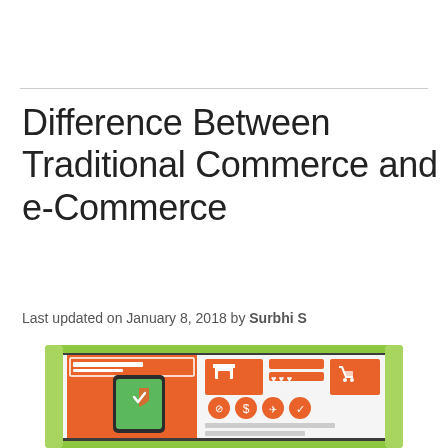Difference Between Traditional Commerce and e-Commerce
Last updated on January 8, 2018 by Surbhi S
[Figure (illustration): Infographic showing e-commerce concept: a monitor with green border containing an orange smartphone with shield/checkmark icon on green screen, alongside orange UI panels with store icon, shopping cart, hearts, and circular icons for tag, dollar, airplane, and checkmark symbols, with white text/menu bar areas.]